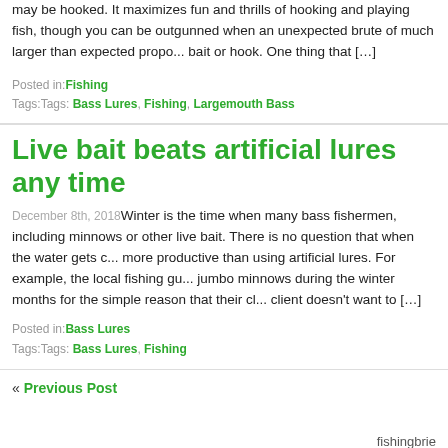may be hooked. It maximizes fun and thrills of hooking and playing fish, though you can be outgunned when an unexpected brute of much larger than expected proportions attacks the bait or hook. One thing that […]
Posted in: Fishing
Tags: Bass Lures, Fishing, Largemouth Bass
Live bait beats artificial lures any time
December 8th, 2018 Winter is the time when many bass fishermen, including minnows or other live bait. There is no question that when the water gets cold, live bait is more productive than using artificial lures. For example, the local fishing guide always uses jumbo minnows during the winter months for the simple reason that their clients doesn't want to […]
Posted in: Bass Lures
Tags: Bass Lures, Fishing
« Previous Post
fishingbrie